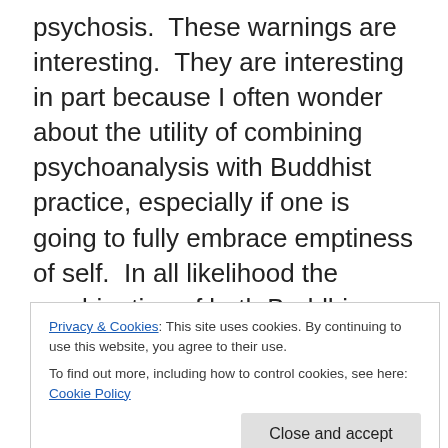psychosis.  These warnings are interesting.  They are interesting in part because I often wonder about the utility of combining psychoanalysis with Buddhist practice, especially if one is going to fully embrace emptiness of self.  In all likelihood the combination of both Buddhism and psychotherapy can be a very effective way with which one can effect a necessary change in one's experience of life to reduce suffering.    Yet I sometimes wonder how much we benefit from aligning our living and breathing practice of dharma with the structures of our intellect such as modalities that seek to measure and define our
Privacy & Cookies: This site uses cookies. By continuing to use this website, you agree to their use.
To find out more, including how to control cookies, see here: Cookie Policy
Close and accept
lightening in the night sky, the reverberation of the reactive